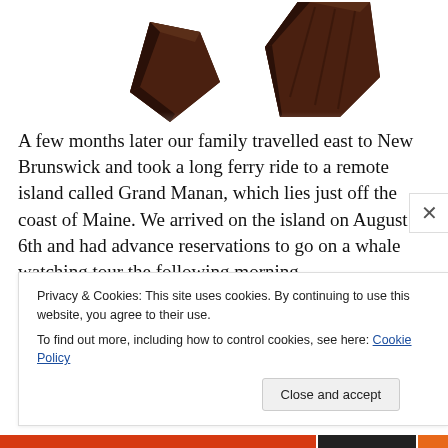[Figure (photo): Partial view of chocolate pieces/chunks on a white background, cropped at top of page]
A few months later our family travelled east to New Brunswick and took a long ferry ride to a remote island called Grand Manan, which lies just off the coast of Maine. We arrived on the island on August 6th and had advance reservations to go on a whale watching tour the following morning.
Privacy & Cookies: This site uses cookies. By continuing to use this website, you agree to their use.
To find out more, including how to control cookies, see here: Cookie Policy
Close and accept